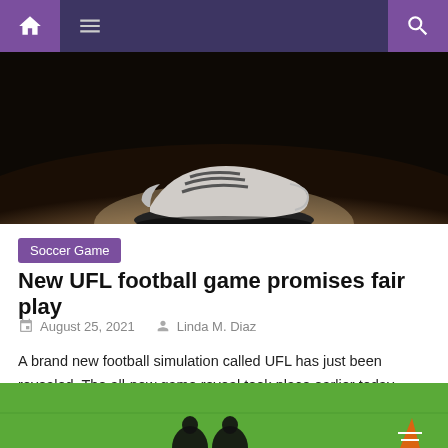Navigation bar with home, menu, and search icons
[Figure (photo): Close-up photo of a soccer/football shoe/cleat on a dark floor with dramatic lighting]
Soccer Game
New UFL football game promises fair play
August 25, 2021   Linda M. Diaz
A brand new football simulation called UFL has just been revealed. The all-new game reveal took place earlier today during Gamescom Opening Night Live 2021, hosted as always by Geoff Keighley. Halfway through the celebrations, a very brief UFL cinematic trailer was shown, revealing a brand new football game entering the stage. The very short [...]
[Figure (photo): Bottom portion of a soccer stadium scene with green field visible and spectators in the background]